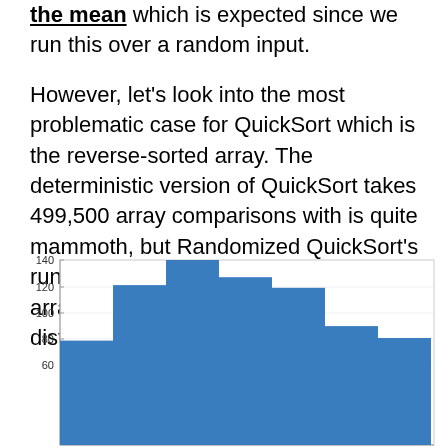the mean which is expected since we run this over a random input.
However, let's look into the most problematic case for QuickSort which is the reverse-sorted array. The deterministic version of QuickSort takes 499,500 array comparisons with is quite mammoth, but Randomized QuickSort's run-time on the same reverse-sorted array is given by the following distribution over 1,000 samples again.
[Figure (histogram): ]